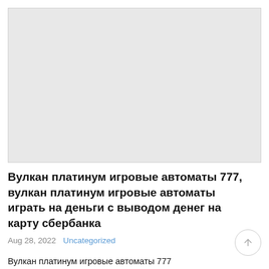[Figure (other): Gray placeholder image area at top of page]
Вулкан платинум игровые автоматы 777, вулкан платинум игровые автоматы играть на деньги с выводом денег на карту сбербанка
Aug 28, 2022   Uncategorized
Вулкан платинум игровые автоматы 777